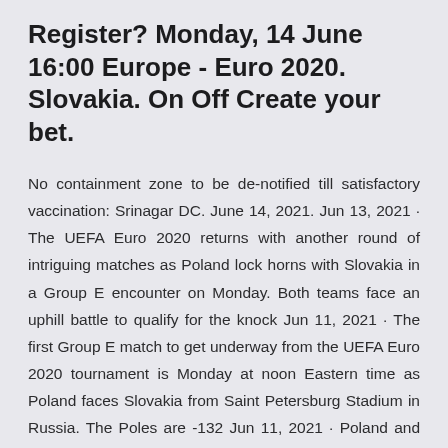Register? Monday, 14 June 16:00 Europe - Euro 2020. Slovakia. On Off Create your bet.
No containment zone to be de-notified till satisfactory vaccination: Srinagar DC. June 14, 2021. Jun 13, 2021 · The UEFA Euro 2020 returns with another round of intriguing matches as Poland lock horns with Slovakia in a Group E encounter on Monday. Both teams face an uphill battle to qualify for the knock Jun 11, 2021 · The first Group E match to get underway from the UEFA Euro 2020 tournament is Monday at noon Eastern time as Poland faces Slovakia from Saint Petersburg Stadium in Russia. The Poles are -132 Jun 11, 2021 · Poland and Slovakia are teams of comparable level.